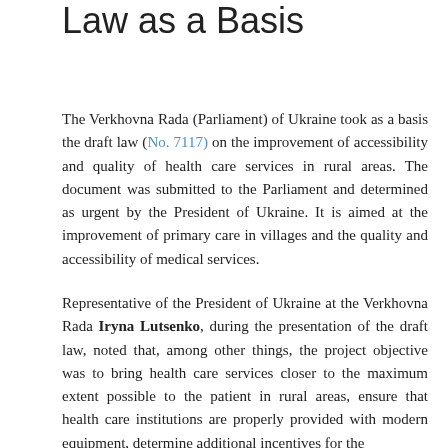Law as a Basis
The Verkhovna Rada (Parliament) of Ukraine took as a basis the draft law (No. 7117) on the improvement of accessibility and quality of health care services in rural areas. The document was submitted to the Parliament and determined as urgent by the President of Ukraine. It is aimed at the improvement of primary care in villages and the quality and accessibility of medical services.
Representative of the President of Ukraine at the Verkhovna Rada Iryna Lutsenko, during the presentation of the draft law, noted that, among other things, the project objective was to bring health care services closer to the maximum extent possible to the patient in rural areas, ensure that health care institutions are properly provided with modern equipment, determine additional incentives for the